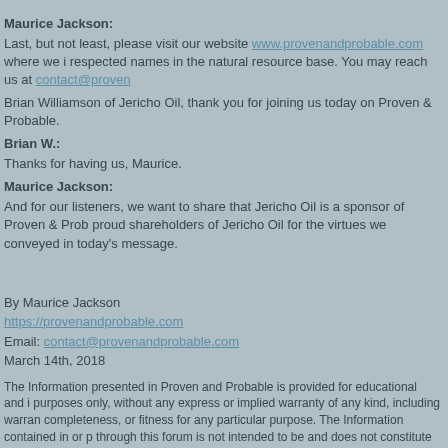Maurice Jackson:
Last, but not least, please visit our website www.provenandprobable.com where we i respected names in the natural resource base. You may reach us at contact@proven
Brian Williamson of Jericho Oil, thank you for joining us today on Proven & Probable.
Brian W.:
Thanks for having us, Maurice.
Maurice Jackson:
And for our listeners, we want to share that Jericho Oil is a sponsor of Proven & Prob proud shareholders of Jericho Oil for the virtues we conveyed in today's message.
By Maurice Jackson
https://provenandprobable.com
Email: contact@provenandprobable.com
March 14th, 2018
The Information presented in Proven and Probable is provided for educational and i purposes only, without any express or implied warranty of any kind, including warran completeness, or fitness for any particular purpose. The Information contained in or p through this forum is not intended to be and does not constitute financial advice, inve trading advice or any other advice. The Information on this forum and provided from is general in nature and is not specific to you the User or anyone else. YOU SHOUL DECISION, FINANCIAL, INVESTMENTS, TRADING OR OTHERWISE, BASED ON INFORMATION PRESENTED ON THIS FORUM WITHOUT UNDERTAKING INDEP DILIGENCE AND CONSULTATION WITH A PROFESSIONAL BROKER OR CO